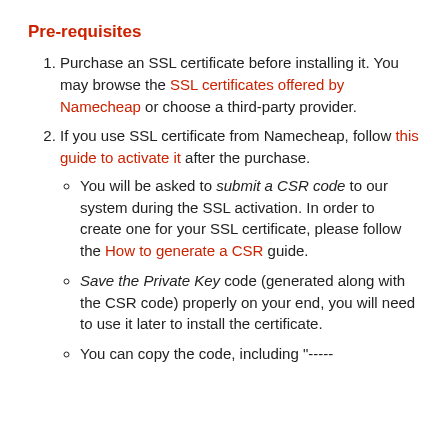Pre-requisites
Purchase an SSL certificate before installing it. You may browse the SSL certificates offered by Namecheap or choose a third-party provider.
If you use SSL certificate from Namecheap, follow this guide to activate it after the purchase.
You will be asked to submit a CSR code to our system during the SSL activation. In order to create one for your SSL certificate, please follow the How to generate a CSR guide.
Save the Private Key code (generated along with the CSR code) properly on your end, you will need to use it later to install the certificate.
You can copy the code, including "-----